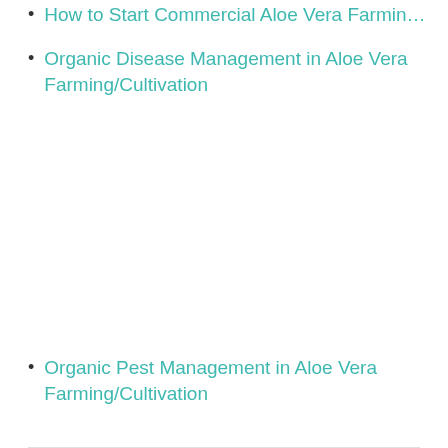How to Start Commercial Aloe Vera Farming Guide fo…
Organic Disease Management in Aloe Vera Farming/Cultivation
Organic Pest Management in Aloe Vera Farming/Cultivation